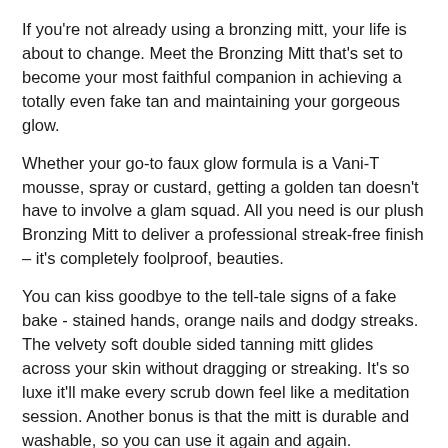If you're not already using a bronzing mitt, your life is about to change. Meet the Bronzing Mitt that's set to become your most faithful companion in achieving a totally even fake tan and maintaining your gorgeous glow.
Whether your go-to faux glow formula is a Vani-T mousse, spray or custard, getting a golden tan doesn't have to involve a glam squad. All you need is our plush Bronzing Mitt to deliver a professional streak-free finish – it's completely foolproof, beauties.
You can kiss goodbye to the tell-tale signs of a fake bake - stained hands, orange nails and dodgy streaks. The velvety soft double sided tanning mitt glides across your skin without dragging or streaking. It's so luxe it'll make every scrub down feel like a meditation session. Another bonus is that the mitt is durable and washable, so you can use it again and again.
You deserve a fake tan so good they'll think it's the real deal - and our Bronzing Mitt was made for the task.
HERO INGREDIENTS